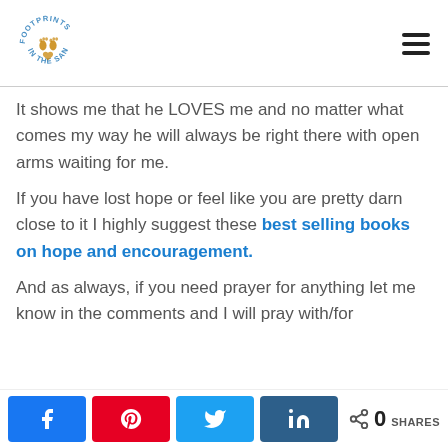Footprints in the Sand
It shows me that he LOVES me and no matter what comes my way he will always be right there with open arms waiting for me.
If you have lost hope or feel like you are pretty darn close to it I highly suggest these best selling books on hope and encouragement.
And as always, if you need prayer for anything let me know in the comments and I will pray with/for